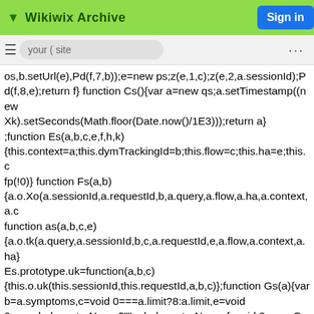▼ Wikiwix Archive
Sign in
os,b.setUrl(e),Pd(f,7,b));e=new ps;z(e,1,c);z(e,2,a.sessionId);Pd(f,8,e);return f} function Cs(){var a=new qs;a.setTimestamp((new Xk).setSeconds(Math.floor(Date.now()/1E3)));return a} ;function Es(a,b,c,e,f,h,k) {this.context=a;this.dymTrackingId=b;this.flow=c;this.ha=e;this.c fp(!0)} function Fs(a,b) {a.o.Xo(a.sessionId,a.requestId,b,a.query,a.flow,a.ha,a.context,a.c function as(a,b,c,e) {a.o.tk(a.query,a.sessionId,b,c,a.requestId,e,a.flow,a.context,a.ha} Es.prototype.uk=function(a,b,c) {this.o.uk(this.sessionId,this.requestId,a,b,c)};function Gs(a){var b=a.symptoms,c=void 0===a.limit?8:a.limit,e=void 0===a.helpcenterName?"":a.helpcenterName,f=void 0===a.Gp? new Map:a.Gp;a=void 0===a.Eo? 0:a.Eo;E.call(this,"sc.symptoms.Symptoms");this.ha="true"===hh layout");this.isRendered=this.o=!1;this.symptoms=b;this.limit=c; w(Gs,E);Gs.prototype.getURL=function(a){var b;a=null!= (b=x(a,1))?b:"";return""!==a&&this.Gp.has(a)&&